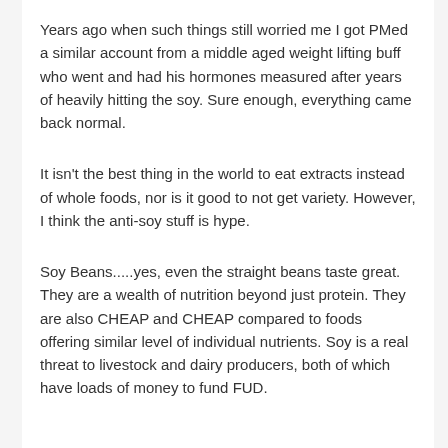Years ago when such things still worried me I got PMed a similar account from a middle aged weight lifting buff who went and had his hormones measured after years of heavily hitting the soy. Sure enough, everything came back normal.
It isn't the best thing in the world to eat extracts instead of whole foods, nor is it good to not get variety. However, I think the anti-soy stuff is hype.
Soy Beans.....yes, even the straight beans taste great. They are a wealth of nutrition beyond just protein. They are also CHEAP and CHEAP compared to foods offering similar level of individual nutrients. Soy is a real threat to livestock and dairy producers, both of which have loads of money to fund FUD.